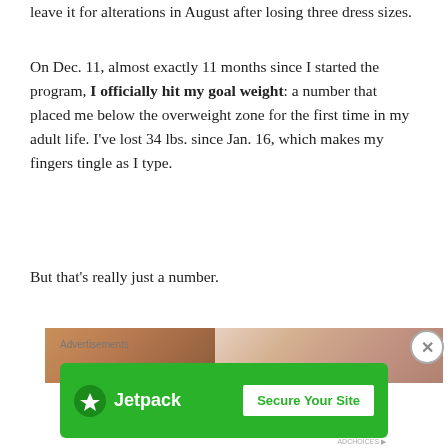leave it for alterations in August after losing three dress sizes.
On Dec. 11, almost exactly 11 months since I started the program, I officially hit my goal weight: a number that placed me below the overweight zone for the first time in my adult life. I've lost 34 lbs. since Jan. 16, which makes my fingers tingle as I type.
But that's really just a number.
[Figure (photo): Two side-by-side photos showing a person, partially visible at bottom of page]
Advertisements
[Figure (logo): Jetpack advertisement banner with green background, Jetpack logo and lightning bolt icon, and 'Secure Your Site' button]